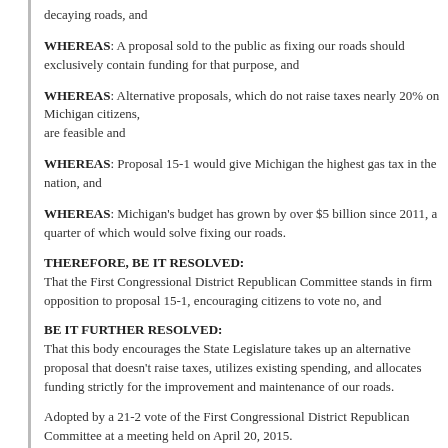decaying roads, and
WHEREAS: A proposal sold to the public as fixing our roads should exclusively contain funding for that purpose, and
WHEREAS: Alternative proposals, which do not raise taxes nearly 20% on Michigan citizens, are feasible and
WHEREAS: Proposal 15-1 would give Michigan the highest gas tax in the nation, and
WHEREAS: Michigan's budget has grown by over $5 billion since 2011, a quarter of which would solve fixing our roads.
THEREFORE, BE IT RESOLVED: That the First Congressional District Republican Committee stands in firm opposition to proposal 15-1, encouraging citizens to vote no, and
BE IT FURTHER RESOLVED: That this body encourages the State Legislature takes up an alternative proposal that doesn't raise taxes, utilizes existing spending, and allocates funding strictly for the improvement and maintenance of our roads.
Adopted by a 21-2 vote of the First Congressional District Republican Committee at a meeting held on April 20, 2015.